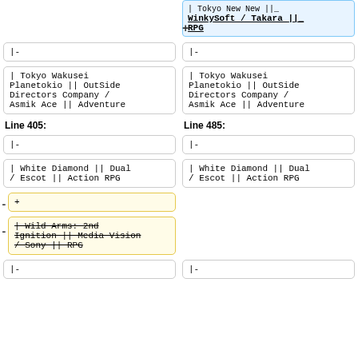| Tokyo New New || _ WinkySoft / Takara ||_ RPG (highlighted, underlined, added)
|-
|-
| Tokyo Wakusei Planetokio || OutSide Directors Company / Asmik Ace || Adventure
| Tokyo Wakusei Planetokio || OutSide Directors Company / Asmik Ace || Adventure
Line 405:
Line 485:
|-
|-
| White Diamond || Dual / Escot || Action RPG
| White Diamond || Dual / Escot || Action RPG
+ (added row marker)
- | Wild Arms: 2nd Ignition || Media Vision / Sony || RPG (strikethrough, removed)
|-
|-